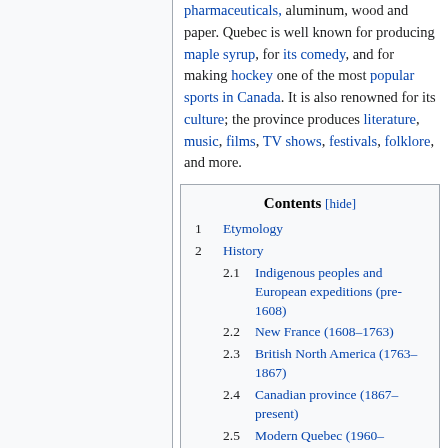pharmaceuticals, aluminum, wood and paper. Quebec is well known for producing maple syrup, for its comedy, and for making hockey one of the most popular sports in Canada. It is also renowned for its culture; the province produces literature, music, films, TV shows, festivals, folklore, and more.
| Contents | [hide] |
| 1 | Etymology |
| 2 | History |
| 2.1 | Indigenous peoples and European expeditions (pre-1608) |
| 2.2 | New France (1608–1763) |
| 2.3 | British North America (1763–1867) |
| 2.4 | Canadian province (1867–present) |
| 2.5 | Modern Quebec (1960– |